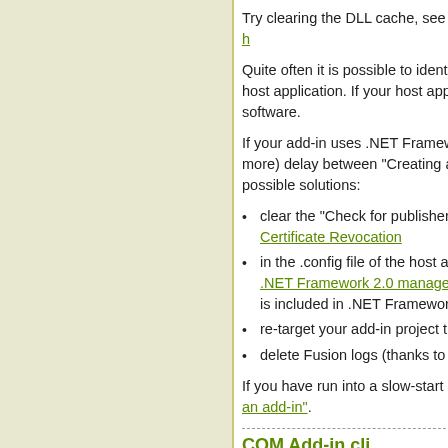Try clearing the DLL cache, see [link]
Quite often it is possible to identify the host application. If your host app... software.
If your add-in uses .NET Framework... more) delay between "Creating a..." possible solutions:
clear the "Check for publisher... Certificate Revocation
in the .config file of the host a... .NET Framework 2.0 manage... is included in .NET Framework...
re-target your add-in project t...
delete Fusion logs (thanks to...
If you have run into a slow-start p... an add-in".
COM Add-in cli...